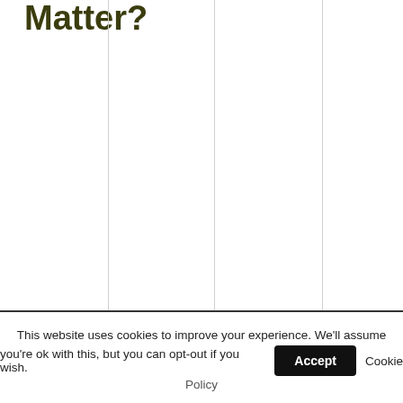Matter?
[Figure (other): White area with vertical grid lines, partially showing a chart or table structure]
This website uses cookies to improve your experience. We'll assume you're ok with this, but you can opt-out if you wish. Accept Cookie Policy